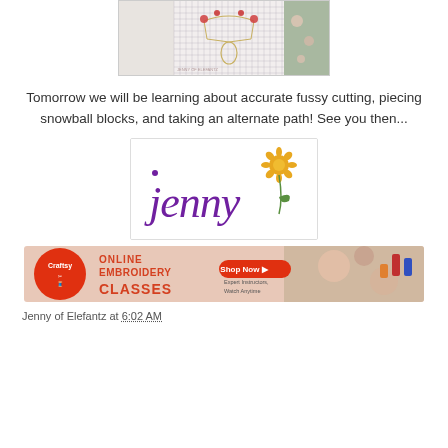[Figure (photo): Embroidery/needlework image showing cross-stitch grid with floral embroidery design, flanked by floral fabric on the right]
Tomorrow we will be learning about accurate fussy cutting, piecing snowball blocks, and taking an alternate path! See you then...
[Figure (logo): Jenny of Elefantz signature logo in purple cursive script with a yellow daisy flower]
[Figure (photo): Craftsy advertisement banner for Online Embroidery Classes with Shop Now button]
Jenny of Elefantz at 6:02 AM